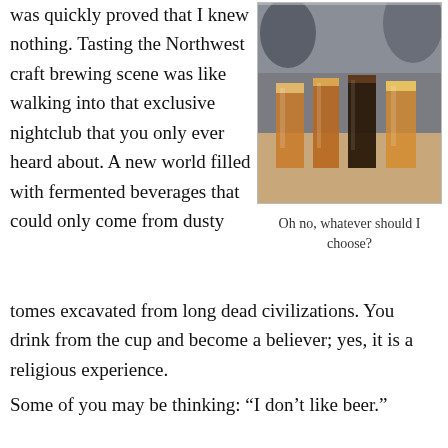was quickly proved that I knew nothing. Tasting the Northwest craft brewing scene was like walking into that exclusive nightclub that you only ever heard about. A new world filled with fermented beverages that could only come from dusty
[Figure (photo): Photo of several glasses of craft beer lined up on a table in a restaurant setting, varying from amber to dark brown colors.]
Oh no, whatever should I choose?
tomes excavated from long dead civilizations. You drink from the cup and become a believer; yes, it is a religious experience.
Some of you may be thinking: “I don’t like beer.”